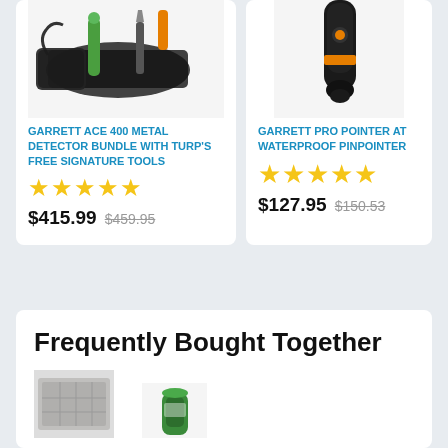[Figure (photo): Garrett ACE 400 metal detector bundle with accessories — bag, digger, pinpointer]
GARRETT ACE 400 METAL DETECTOR BUNDLE WITH TURP'S FREE SIGNATURE TOOLS
★★★★★
$415.99  $459.95
[Figure (photo): Garrett Pro Pointer AT Waterproof Pinpointer device (partial, top right)]
GARRETT PRO POINTER AT WATERPROOF PINPOINTER
★★★★★
$127.95  $150.53
Frequently Bought Together
[Figure (photo): Small product image (partial, bottom left) — appears to be a mat or pad]
[Figure (photo): Small product image (partial, bottom center) — appears to be a green item]